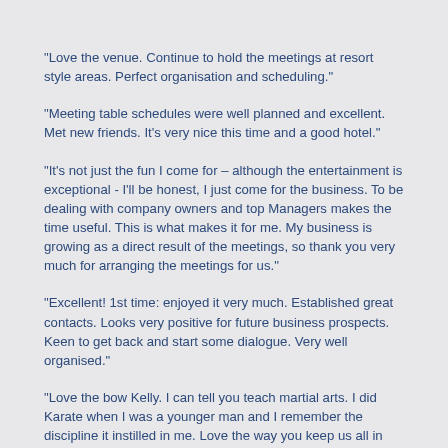“Love the venue. Continue to hold the meetings at resort style areas. Perfect organisation and scheduling.”
“Meeting table schedules were well planned and excellent. Met new friends. It’s very nice this time and a good hotel.”
“It’s not just the fun I come for – although the entertainment is exceptional - I’ll be honest, I just come for the business. To be dealing with company owners and top Managers makes the time useful. This is what makes it for me. My business is growing as a direct result of the meetings, so thank you very much for arranging the meetings for us.”
“Excellent! 1st time: enjoyed it very much. Established great contacts. Looks very positive for future business prospects. Keen to get back and start some dialogue. Very well organised.”
“Love the bow Kelly. I can tell you teach martial arts. I did Karate when I was a younger man and I remember the discipline it instilled in me. Love the way you keep us all in line. We’re spend our lives telling people what to do and it is refreshing to be told what to do for once – but you do it in a nice way. If I was younger I’d come to London to attend one of your classes. The meeting was a wonderful success. I am proud to be part of WFN – it is unique, it is special and we must tell all our agents to join us! Although not